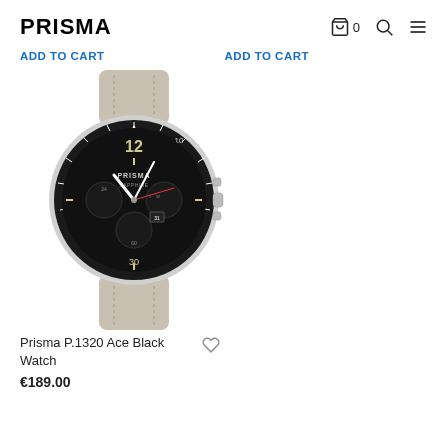PRISMA
ADD TO CART   ADD TO CART
[Figure (photo): Prisma P.1320 Ace Black Watch with black chronograph dial, silver case, and beige/gray leather strap]
Prisma P.1320 Ace Black Watch
€189.00